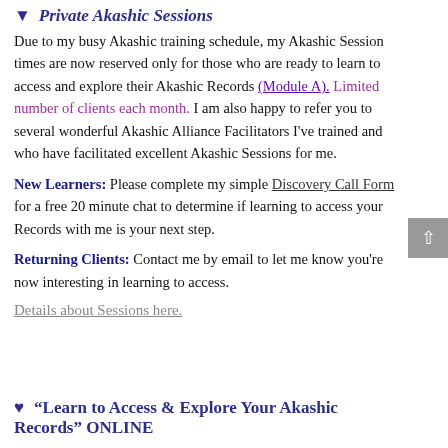▼ Private Akashic Sessions
Due to my busy Akashic training schedule, my Akashic Session times are now reserved only for those who are ready to learn to access and explore their Akashic Records (Module A). Limited number of clients each month. I am also happy to refer you to several wonderful Akashic Alliance Facilitators I've trained and who have facilitated excellent Akashic Sessions for me.
New Learners: Please complete my simple Discovery Call Form for a free 20 minute chat to determine if learning to access your Records with me is your next step.
Returning Clients: Contact me by email to let me know you're now interesting in learning to access.
Details about Sessions here.
♥  "Learn to Access & Explore Your Akashic Records" ONLINE